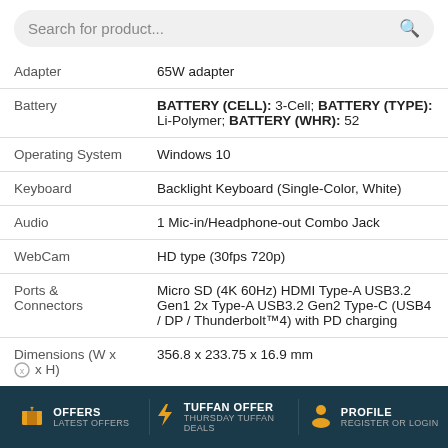| Attribute | Value |
| --- | --- |
| Adapter | 65W adapter |
| Battery | BATTERY (CELL): 3-Cell; BATTERY (TYPE): Li-Polymer; BATTERY (WHR): 52 |
| Operating System | Windows 10 |
| Keyboard | Backlight Keyboard (Single-Color, White) |
| Audio | 1 Mic-in/Headphone-out Combo Jack |
| WebCam | HD type (30fps 720p) |
| Ports & Connectors | Micro SD (4K 60Hz) HDMI Type-A USB3.2 Gen1 2x Type-A USB3.2 Gen2 Type-C (USB4 / DP / Thunderbolt™4) with PD charging |
| Dimensions (W x D x H) | 356.8 x 233.75 x 16.9 mm |
OFFERS LATEST OFFERS | TUFFAN OFFER THURSDAY TUFFAN DEALS | PROFILE REGISTER OR LOGIN